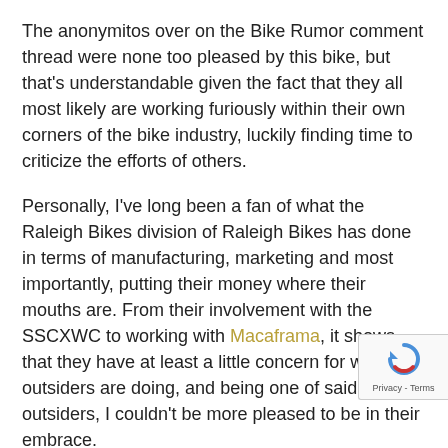The anonymitos over on the Bike Rumor comment thread were none too pleased by this bike, but that's understandable given the fact that they all most likely are working furiously within their own corners of the bike industry, luckily finding time to criticize the efforts of others.
Personally, I've long been a fan of what the Raleigh Bikes division of Raleigh Bikes has done in terms of manufacturing, marketing and most importantly, putting their money where their mouths are. From their involvement with the SSCXWC to working with Macaframa, it shows that they have at least a little concern for what the outsiders are doing, and being one of said outsiders, I couldn't be more pleased to be in their embrace.
And as long as we're discussing those to whom I si supper, Philip sent a heads up about some goings o
The Upright Cyclist: